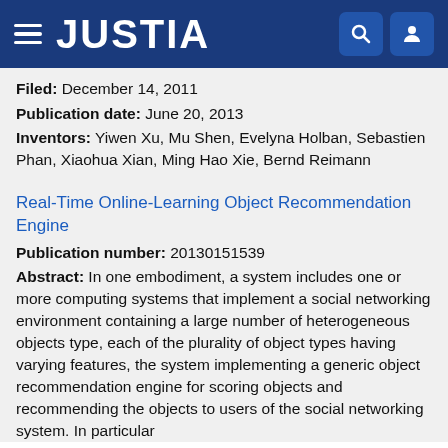JUSTIA
Filed: December 14, 2011
Publication date: June 20, 2013
Inventors: Yiwen Xu, Mu Shen, Evelyna Holban, Sebastien Phan, Xiaohua Xian, Ming Hao Xie, Bernd Reimann
Real-Time Online-Learning Object Recommendation Engine
Publication number: 20130151539
Abstract: In one embodiment, a system includes one or more computing systems that implement a social networking environment containing a large number of heterogeneous objects type, each of the plurality of object types having varying features, the system implementing a generic object recommendation engine for scoring objects and recommending the objects to users of the social networking system. In particular